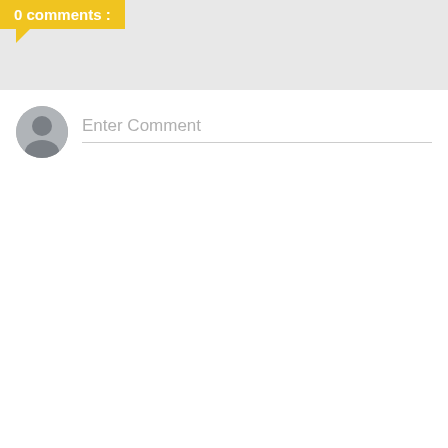0 comments :
[Figure (other): User avatar placeholder circle with person silhouette icon]
Enter Comment
Jesus: The Husband's Standard of Love
Thursday, December 10, 2009   Bryan Hudson   0 Comments
Ephesians 5:25 And you husbands must love your wives with the same love Christ showed